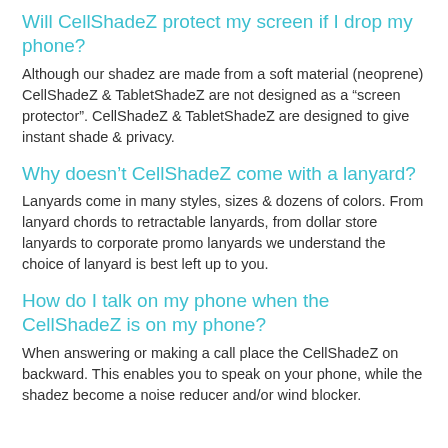Will CellShadeZ protect my screen if I drop my phone?
Although our shadez are made from a soft material (neoprene) CellShadeZ & TabletShadeZ are not designed as a “screen protector”. CellShadeZ & TabletShadeZ are designed to give instant shade & privacy.
Why doesn’t CellShadeZ come with a lanyard?
Lanyards come in many styles, sizes & dozens of colors. From lanyard chords to retractable lanyards, from dollar store lanyards to corporate promo lanyards we understand the choice of lanyard is best left up to you.
How do I talk on my phone when the CellShadeZ is on my phone?
When answering or making a call place the CellShadeZ on backward. This enables you to speak on your phone, while the shadez become a noise reducer and/or wind blocker.